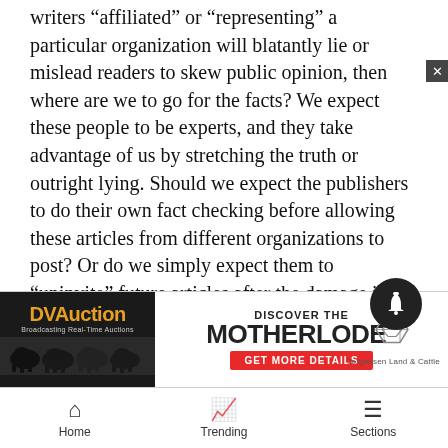writers “affiliated” or “representing” a particular organization will blatantly lie or mislead readers to skew public opinion, then where are we to go for the facts? We expect these people to be experts, and they take advantage of us by stretching the truth or outright lying. Should we expect the publishers to do their own fact checking before allowing these articles from different organizations to post? Or do we simply expect them to “uninvite” future articles after the damage is done? Personally I’m too busy to do all the research needed to validate all these articles and it’s certainly why I’m a member of so many grassroots organizations focused on aviation, farming, beef, and constitutional gun rights. The minimal amount of money I pay for memberships to various organi[...] made opinio[...] nted
[Figure (other): DVAuction advertisement banner: 'DISCOVER THE MOTHERLODE - GET MORE DETAILS' by Jorgensen Land & Cattle, with cattle image on left]
Home   Trending   Sections